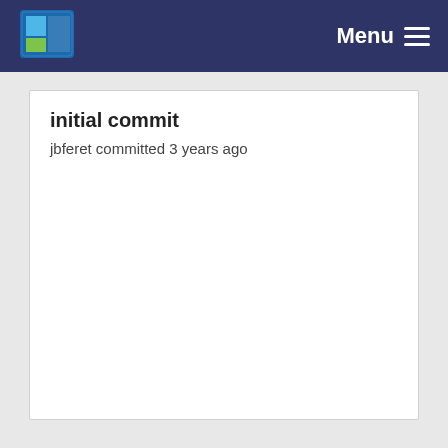Menu
initial commit
jbferet committed 3 years ago